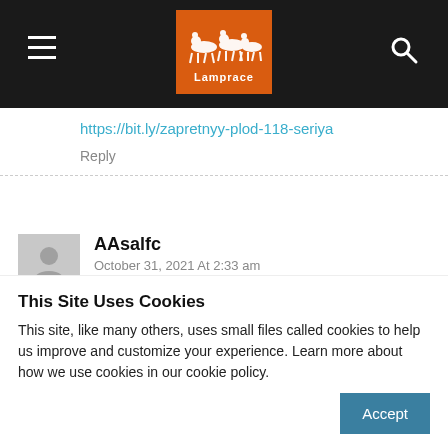[Figure (logo): Lamprace website logo - orange background with white horse racing silhouettes and text 'Lamprace']
https://bit.ly/zapretnyy-plod-118-seriya
Reply
AAsalfc
October 31, 2021 At 2:33 am
https://bit.ly/barbarossa-8-seriya
Reply
This Site Uses Cookies
This site, like many others, uses small files called cookies to help us improve and customize your experience. Learn more about how we use cookies in our cookie policy.